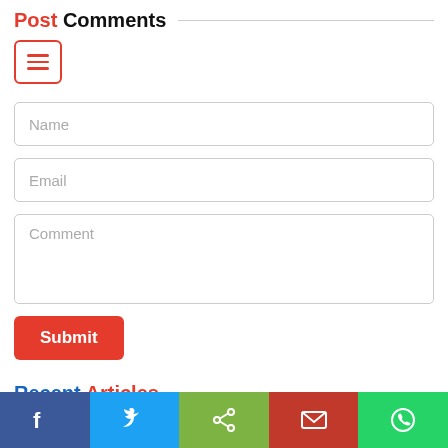Post Comments
[Figure (screenshot): Hamburger menu button with red border and three red horizontal lines]
Name
Email
Comment
Submit
Recent Articles
[Figure (logo): Newshound India Foundation logo - blue and red stylized NH letters with circular arrow]
Training them young: An output-based platform for Mass Communication students
26 Jul 2022, by: Ashiv Bishnoi
0 Comments
Facebook, Twitter, Share, Email, WhatsApp share bar